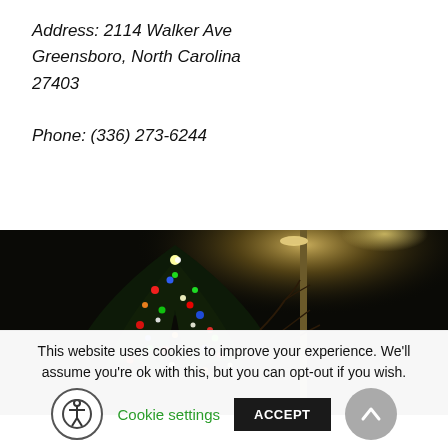Address: 2114 Walker Ave
Greensboro, North Carolina
27403

Phone: (336) 273-6244
[Figure (photo): Night-time photograph of a decorated tree or sculpture with colorful lights (red, blue, green, white) against a dark sky, with a street lamp visible in the background]
This website uses cookies to improve your experience. We'll assume you're ok with this, but you can opt-out if you wish.
Cookie settings
ACCEPT